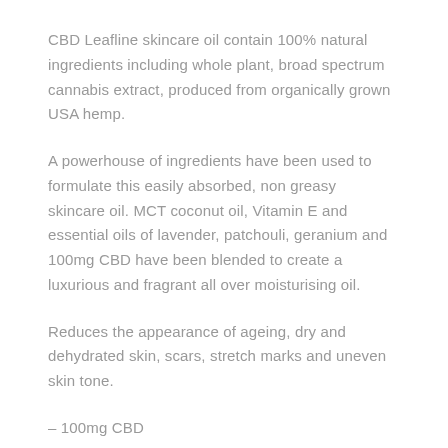CBD Leafline skincare oil contain 100% natural ingredients including whole plant, broad spectrum cannabis extract, produced from organically grown USA hemp.
A powerhouse of ingredients have been used to formulate this easily absorbed, non greasy skincare oil. MCT coconut oil, Vitamin E and essential oils of lavender, patchouli, geranium and 100mg CBD have been blended to create a luxurious and fragrant all over moisturising oil.
Reduces the appearance of ageing, dry and dehydrated skin, scars, stretch marks and uneven skin tone.
– 100mg CBD
– 100ml